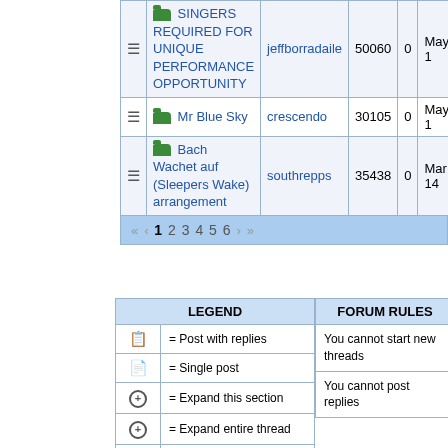|  | Title | Author | Views | Replies | Last Post |
| --- | --- | --- | --- | --- | --- |
| [icon] | SINGERS REQUIRED FOR UNIQUE PERFORMANCE OPPORTUNITY | jeffborradaile | 50060 | 0 | May 1 |
| [icon] | Mr Blue Sky | crescendo | 30105 | 0 | May 1 |
| [icon] | Bach Wachet auf (Sleepers Wake) arrangement | southrepps | 35438 | 0 | Mar 14 |
« ‹ 1 2 3 4 5 6 › »
| LEGEND |
| --- |
| [doc-multi] | = Post with replies |
| [doc-single] | = Single post |
| [plus] | = Expand this section |
| [plus] | = Expand entire thread |
| [arrow] | = Jump to last post in thread |
| FORUM RULES |
| --- |
| You cannot start new threads |
| You cannot post replies |